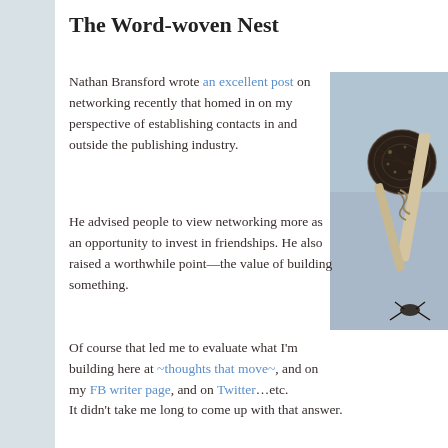The Word-woven Nest
Nathan Bransford wrote an excellent post on networking recently that homed in on my perspective of establishing contacts in and outside the publishing industry.
[Figure (photo): Close-up photo of woven decorative balls on sticks/branches against a light blue-grey background, with what appears to be an insect at the bottom.]
He advised people to view networking more as an opportunity to invest in friendships. He also raised a worthwhile point—the value of building something.
Of course that led me to evaluate what I'm building here at ~thoughts that move~, and on my FB writer page, and on Twitter…etc.
It didn't take me long to come up with that answer.